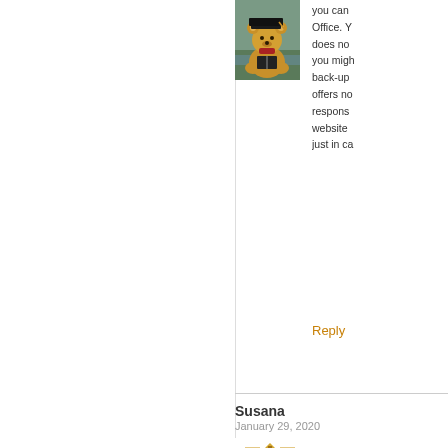[Figure (photo): Photo of a teddy bear wearing a graduation cap, sitting outdoors near water]
you can... Office. Y... does no... you migh... back-up... offers no... respons... website... just in ca...
Reply
Susana
January 29, 2020
[Figure (illustration): Geometric pattern avatar for user Susana, gold/brown diamond pattern on white background]
admin@theleidener
January 29, 2020